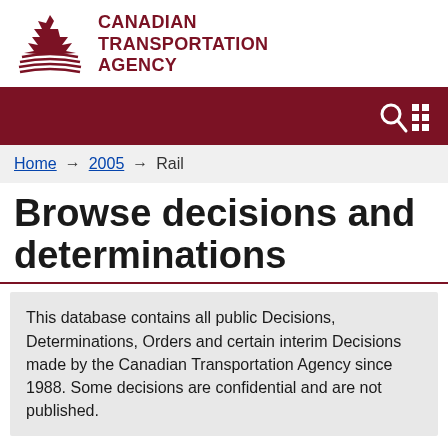CANADIAN TRANSPORTATION AGENCY
Home → 2005 → Rail
Browse decisions and determinations
This database contains all public Decisions, Determinations, Orders and certain interim Decisions made by the Canadian Transportation Agency since 1988. Some decisions are confidential and are not published.